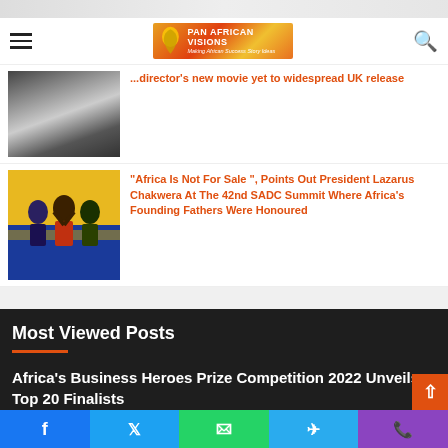Pan African Visions - navigation bar with logo and search icon
[Figure (photo): Black and white close-up photo of a person's face]
...director's new movie yet to widespread UK release
[Figure (photo): Color photo of African leaders at the 42nd SADC Summit raising hands]
"Africa Is Not For Sale ", Points Out President Lazarus Chakwera At The 42nd SADC Summit Where Africa's Founding Fathers Were Honoured
Most Viewed Posts
Africa's Business Heroes Prize Competition 2022 Unveils Top 20 Finalists
Social share buttons: Facebook, Twitter, WhatsApp, Telegram, Phone